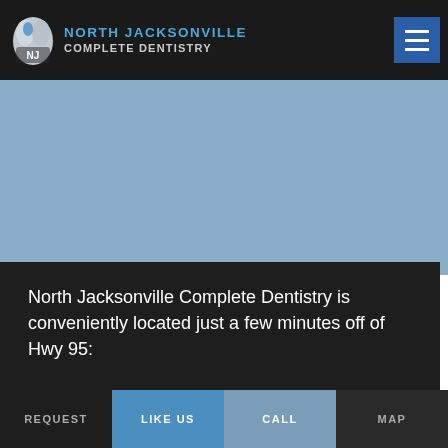[Figure (logo): North Jacksonville Complete Dentistry logo with tooth icon and text]
[Figure (other): Blue-gray banner/hero image area]
North Jacksonville Complete Dentistry is conveniently located just a few minutes off of Hwy 95:
REQUEST   LIKE US   CALL   MAP